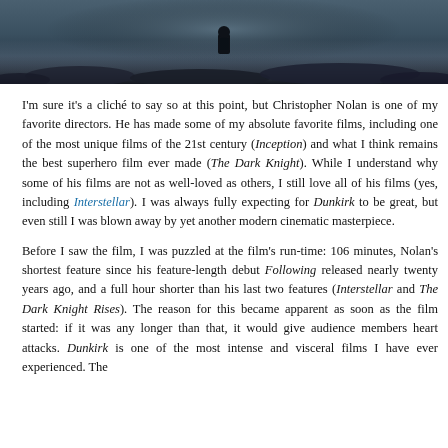[Figure (photo): Dark atmospheric photo of a lone figure standing on rocky terrain with misty/foggy background, blue-grey tones suggesting a war-time beach scene (Dunkirk film still)]
I'm sure it's a cliché to say so at this point, but Christopher Nolan is one of my favorite directors. He has made some of my absolute favorite films, including one of the most unique films of the 21st century (Inception) and what I think remains the best superhero film ever made (The Dark Knight). While I understand why some of his films are not as well-loved as others, I still love all of his films (yes, including Interstellar). I was always fully expecting for Dunkirk to be great, but even still I was blown away by yet another modern cinematic masterpiece.
Before I saw the film, I was puzzled at the film's run-time: 106 minutes, Nolan's shortest feature since his feature-length debut Following released nearly twenty years ago, and a full hour shorter than his last two features (Interstellar and The Dark Knight Rises). The reason for this became apparent as soon as the film started: if it was any longer than that, it would give audience members heart attacks. Dunkirk is one of the most intense and visceral films I have ever experienced. The